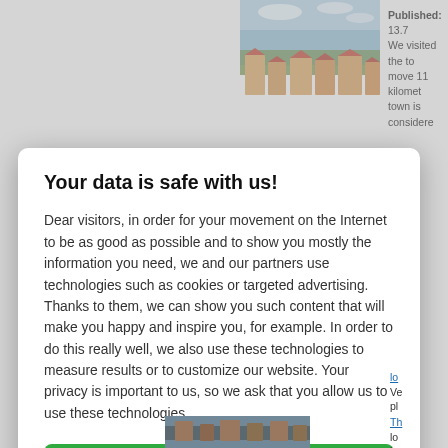[Figure (photo): Aerial/elevated view of a town with orange-red rooftops and green hills in background, cloudy sky]
Published: 13.7
We visited the to
move 11 kilomet
town is considere
Your data is safe with us!
Dear visitors, in order for your movement on the Internet to be as good as possible and to show you mostly the information you need, we and our partners use technologies such as cookies or targeted advertising. Thanks to them, we can show you such content that will make you happy and inspire you, for example. In order to do this really well, we also use these technologies to measure results or to customize our website. Your privacy is important to us, so we ask that you allow us to use these technologies.
Accept
Deny
Set
[Figure (photo): Partial view of another town/location photo at bottom of page]